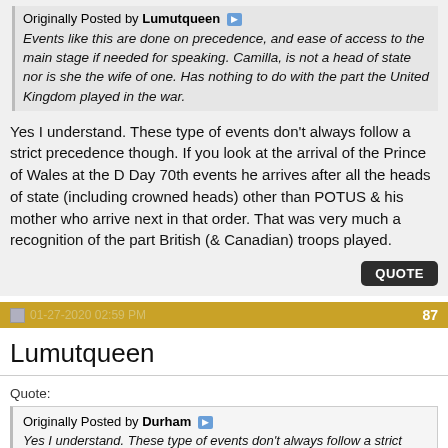Originally Posted by Lumutqueen ▶ Events like this are done on precedence, and ease of access to the main stage if needed for speaking. Camilla, is not a head of state nor is she the wife of one. Has nothing to do with the part the United Kingdom played in the war.
Yes I understand. These type of events don't always follow a strict precedence though. If you look at the arrival of the Prince of Wales at the D Day 70th events he arrives after all the heads of state (including crowned heads) other than POTUS & his mother who arrive next in that order. That was very much a recognition of the part British (& Canadian) troops played.
QUOTE
01-27-2020 02:59 PM  87
Lumutqueen
Quote: Originally Posted by Durham ▶ Yes I understand. These type of events don't always follow a strict precedence though. If you look at the arrival of the Prince of Wales at the D Day 70th events he arrives after all the heads of state (including crowned heads) other than POTUS & his mother who arrive next in that order. That was